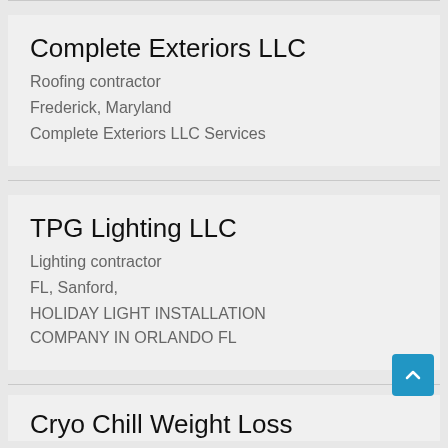Complete Exteriors LLC
Roofing contractor
Frederick, Maryland
Complete Exteriors LLC Services
TPG Lighting LLC
Lighting contractor
FL, Sanford,
HOLIDAY LIGHT INSTALLATION COMPANY IN ORLANDO FL
Cryo Chill Weight Loss